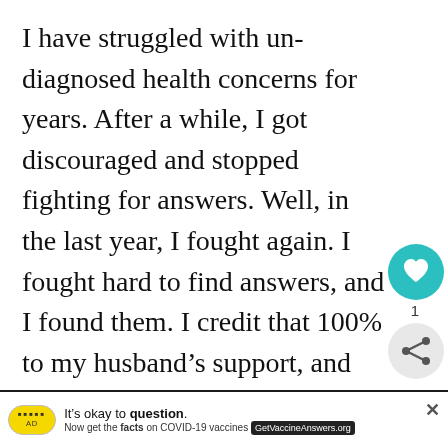I have struggled with un-diagnosed health concerns for years. After a while, I got discouraged and stopped fighting for answers. Well, in the last year, I fought again. I fought hard to find answers, and I found them. I credit that 100% to my husband's support, and my daughter's existence!
We are now trying to grow our own vegetables, support local farms in our area, we continue to do things like recycle, and be energy conscious (of our usage as well as installing solar panels on our home). And in addition to these things, we love it w...
[Figure (other): Heart/like button UI overlay (teal circle with heart icon, count of 1, share icon below)]
[Figure (other): Advertisement banner: yellow pill logo, 'It's okay to question. Now get the facts on COVID-19 vaccines GetVaccineAnswers.org', with close X button]